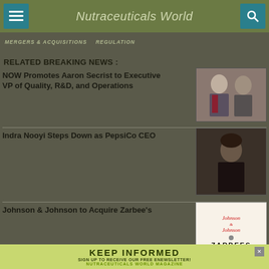Nutraceuticals World
MERGERS & ACQUISITIONS    REGULATION
RELATED BREAKING NEWS :
NOW Promotes Aaron Secrist to Executive VP of Quality, R&D, and Operations
[Figure (photo): Photo of two men in suits, headshots]
Indra Nooyi Steps Down as PepsiCo CEO
[Figure (photo): Photo of woman in dark clothing, headshot]
Johnson & Johnson to Acquire Zarbee's
[Figure (logo): Johnson & Johnson and Zarbee's Naturals logos]
KEEP INFORMED
SIGN UP TO RECEIVE OUR FREE ENEWSLETTER!
NUTRACEUTICALS WORLD MAGAZINE